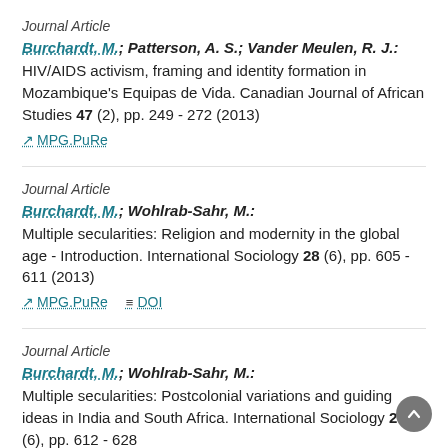Journal Article
Burchardt, M.; Patterson, A. S.; Vander Meulen, R. J.: HIV/AIDS activism, framing and identity formation in Mozambique's Equipas de Vida. Canadian Journal of African Studies 47 (2), pp. 249 - 272 (2013)
MPG.PuRe
Journal Article
Burchardt, M.; Wohlrab-Sahr, M.: Multiple secularities: Religion and modernity in the global age - Introduction. International Sociology 28 (6), pp. 605 - 611 (2013)
MPG.PuRe   DOI
Journal Article
Burchardt, M.; Wohlrab-Sahr, M.: Multiple secularities: Postcolonial variations and guiding ideas in India and South Africa. International Sociology 28 (6), pp. 612 - 628